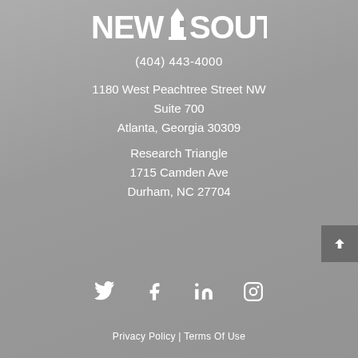[Figure (logo): New South logo in white on gray background — text 'NEW SOUTH' with a building/arrow icon]
(404) 443-4000
1180 West Peachtree Street NW
Suite 700
Atlanta, Georgia 30309
Research Triangle
1715 Camden Ave
Durham, NC 27704
[Figure (infographic): Social media icons row: Twitter, Facebook, LinkedIn, Instagram]
Privacy Policy | Terms Of Use